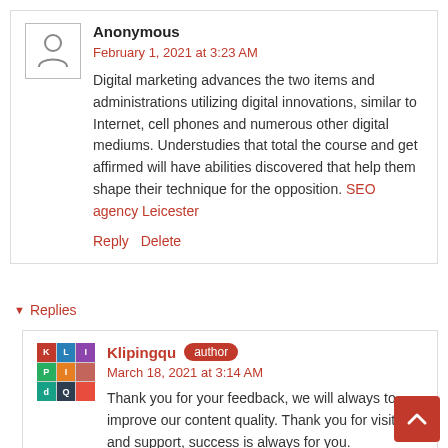Anonymous
February 1, 2021 at 3:23 AM
Digital marketing advances the two items and administrations utilizing digital innovations, similar to Internet, cell phones and numerous other digital mediums. Understudies that total the course and get affirmed will have abilities discovered that help them shape their technique for the opposition. SEO agency Leicester
Reply   Delete
Replies
Klipingqu  author
March 18, 2021 at 3:14 AM
Thank you for your feedback, we will always to improve our content quality. Thank you for visiting and support, success is always for you.